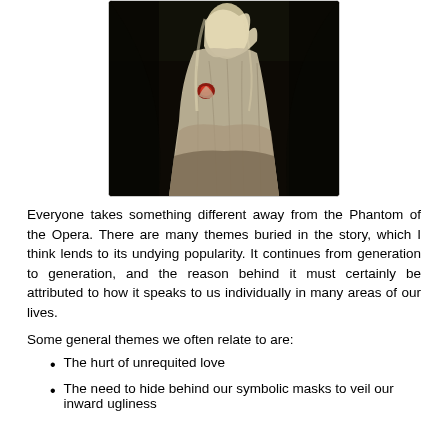[Figure (photo): Dark dramatic photograph of a figure in a flowing white/cream dress or gown, holding what appears to be a red flower, set against a very dark black background, reminiscent of Phantom of the Opera imagery.]
Everyone takes something different away from the Phantom of the Opera. There are many themes buried in the story, which I think lends to its undying popularity. It continues from generation to generation, and the reason behind it must certainly be attributed to how it speaks to us individually in many areas of our lives.
Some general themes we often relate to are:
The hurt of unrequited love
The need to hide behind our symbolic masks to veil our inward ugliness